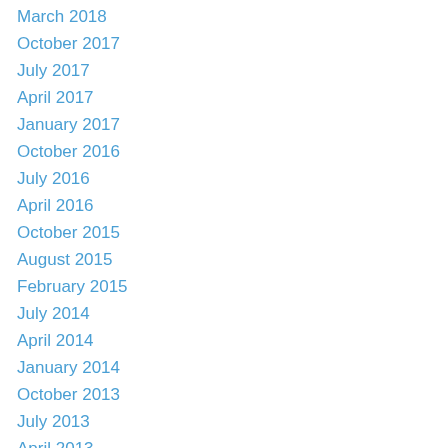March 2018
October 2017
July 2017
April 2017
January 2017
October 2016
July 2016
April 2016
October 2015
August 2015
February 2015
July 2014
April 2014
January 2014
October 2013
July 2013
April 2013
March 2013
February 2013
December 2012